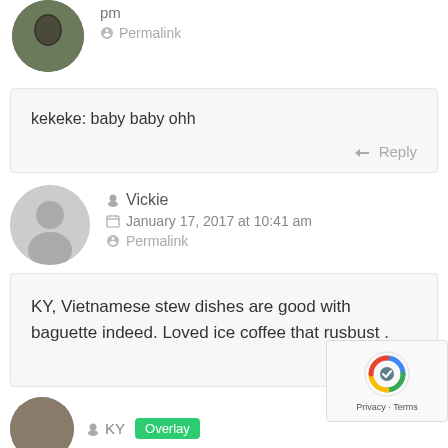pm
Permalink
kekeke: baby baby ohh
Reply
Vickie
January 17, 2017 at 10:41 am
Permalink
KY, Vietnamese stew dishes are good with baguette indeed. Loved ice coffee that rusbust .
Reply
KY
[Figure (other): reCAPTCHA widget with blue/grey logo and Privacy-Terms text]